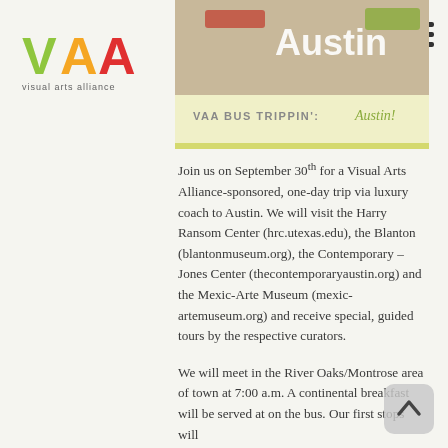[Figure (logo): Visual Arts Alliance logo with stylized VAA letters in green, yellow, and red, and text 'visual arts alliance' below]
[Figure (photo): Banner image with Austin skyline or related imagery and text 'VAA BUS TRIPPIN': Austin!' in a yellow/cream box]
Join us on September 30th for a Visual Arts Alliance-sponsored, one-day trip via luxury coach to Austin. We will visit the Harry Ransom Center (hrc.utexas.edu), the Blanton (blantonmuseum.org), the Contemporary – Jones Center (thecontemporaryaustin.org) and the Mexic-Arte Museum (mexic-artemuseum.org) and receive special, guided tours by the respective curators.
We will meet in the River Oaks/Montrose area of town at 7:00 a.m. A continental breakfast will be served at on the bus. Our first stops will